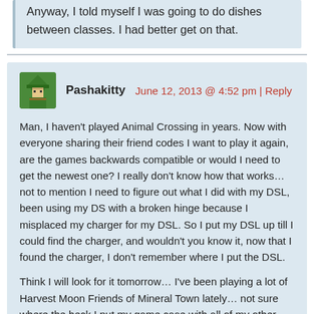Anyway, I told myself I was going to do dishes between classes. I had better get on that.
Pashakitty   June 12, 2013 @ 4:52 pm | Reply
Man, I haven't played Animal Crossing in years. Now with everyone sharing their friend codes I want to play it again, are the games backwards compatible or would I need to get the newest one? I really don't know how that works… not to mention I need to figure out what I did with my DSL, been using my DS with a broken hinge because I misplaced my charger for my DSL. So I put my DSL up till I could find the charger, and wouldn't you know it, now that I found the charger, I don't remember where I put the DSL.
Think I will look for it tomorrow… I've been playing a lot of Harvest Moon Friends of Mineral Town lately… not sure where the heck I put my game case with all of my other games with…